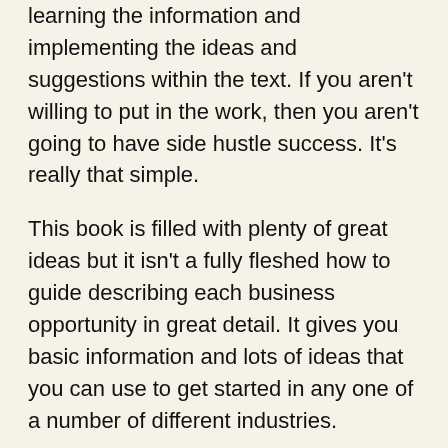learning the information and implementing the ideas and suggestions within the text. If you aren't willing to put in the work, then you aren't going to have side hustle success. It's really that simple.
This book is filled with plenty of great ideas but it isn't a fully fleshed how to guide describing each business opportunity in great detail. It gives you basic information and lots of ideas that you can use to get started in any one of a number of different industries.
If you buy the book and immediately forget about it then you've wasted your money. But if you open the book, become engaged, and put these ideas into action then you too can be one of James's next awesome success stories.